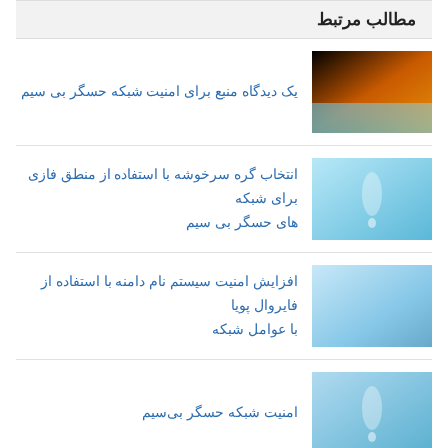مطالب مرتبط
[Figure (photo): Thumbnail image with dark and orange gradient for first article]
یک دیدگاه منبع برای امنیت شبکه حسگر بی سیم
[Figure (photo): Thumbnail image with light blue gradient for second article]
انتخاب گره سرخوشه با استفاده از منطق فازی برای شبکه های حسگر بی سیم
[Figure (photo): Thumbnail image with light blue gradient for third article]
افزایش امنیت سیستم نام دامنه با استفاده از فایروال پویا با عوامل شبکه
[Figure (photo): Thumbnail image with light blue gradient for fourth article]
امنیت شبکه حسگر بی‌سیم
اشتراک این مطلب
[Figure (infographic): Social sharing icons bar: Reddit, Tumblr, LinkedIn, Pinterest, Google+, Twitter, Facebook]